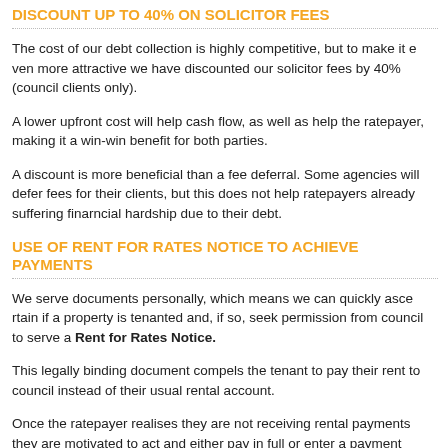DISCOUNT UP TO 40% ON SOLICITOR FEES
The cost of our debt collection is highly competitive, but to make it even more attractive we have discounted our solicitor fees by 40% (council clients only).
A lower upfront cost will help cash flow, as well as help the ratepayer, making it a win-win benefit for both parties.
A discount is more beneficial than a fee deferral. Some agencies will defer fees for their clients, but this does not help ratepayers already suffering financial hardship due to their debt.
USE OF RENT FOR RATES NOTICE TO ACHIEVE PAYMENTS
We serve documents personally, which means we can quickly ascertain if a property is tenanted and, if so, seek permission from council to serve a Rent for Rates Notice.
This legally binding document compels the tenant to pay their rent to council instead of their usual rental account.
Once the ratepayer realises they are not receiving rental payments they are motivated to act and either pay in full or enter a payment arrangement.